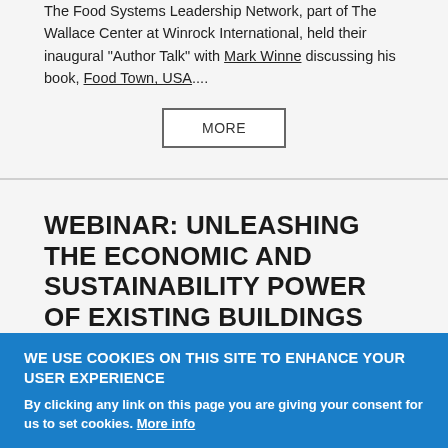The Food Systems Leadership Network, part of The Wallace Center at Winrock International, held their inaugural "Author Talk" with Mark Winne discussing his book, Food Town, USA....
MORE
WEBINAR: UNLEASHING THE ECONOMIC AND SUSTAINABILITY POWER OF EXISTING BUILDINGS
Type of content: Video
WE USE COOKIES ON THIS SITE TO ENHANCE YOUR USER EXPERIENCE
By clicking any link on this page you are giving your consent for us to set cookies. More info